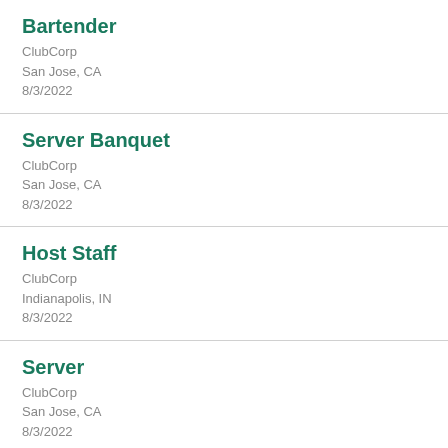Bartender
ClubCorp
San Jose, CA
8/3/2022
Server Banquet
ClubCorp
San Jose, CA
8/3/2022
Host Staff
ClubCorp
Indianapolis, IN
8/3/2022
Server
ClubCorp
San Jose, CA
8/3/2022
Housekeeper
ClubCorp
Houston, TX
8/3/2022